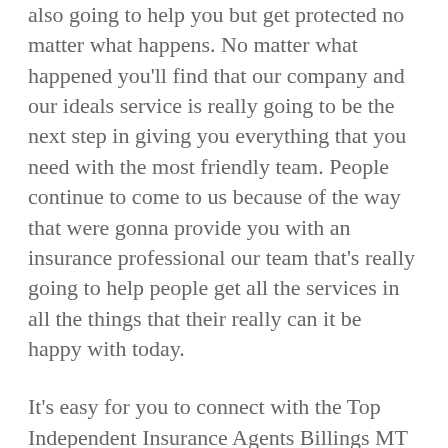also going to help you but get protected no matter what happens. No matter what happened you'll find that our company and our ideals service is really going to be the next step in giving you everything that you need with the most friendly team. People continue to come to us because of the way that were gonna provide you with an insurance professional our team that's really going to help people get all the services in all the things that their really can it be happy with today.
It's easy for you to connect with the Top Independent Insurance Agents Billings MT because our company is going to make it easy. That is I we can't wait to make sure they were giving people a service in a team that really cares about making sure that you can it be happy with what we provide. Our company here in the area is really going to give you everything that you need and it's also going to make sure they were giving people the only ideal and likely services